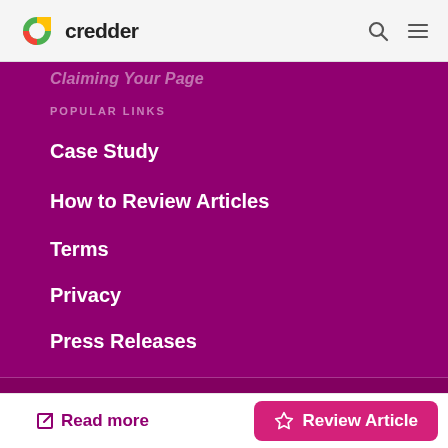credder
Claiming Your Page
POPULAR LINKS
Case Study
How to Review Articles
Terms
Privacy
Press Releases
One Sansome Street, Suite 3500 San Francisco, · (415) 590-
Read more
Review Article